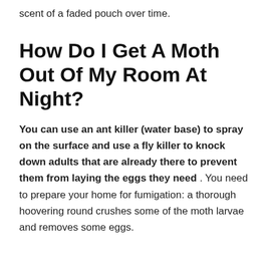scent of a faded pouch over time.
How Do I Get A Moth Out Of My Room At Night?
You can use an ant killer (water base) to spray on the surface and use a fly killer to knock down adults that are already there to prevent them from laying the eggs they need . You need to prepare your home for fumigation: a thorough hoovering round crushes some of the moth larvae and removes some eggs.